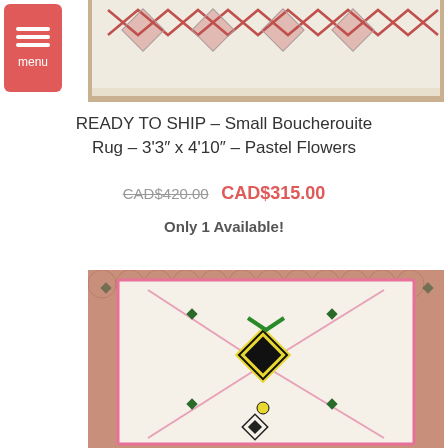[Figure (photo): Top photo of a Boucherouite rug with red/pink diamond patterns on white background, laid on wooden floor]
READY TO SHIP – Small Boucherouite Rug – 3'3″ x 4'10″ – Pastel Flowers
CAD$420.00  CAD$315.00
Only 1 Available!
[Figure (photo): Bottom photo of a Boucherouite rug with colorful pastel flower and diamond patterns (pink, yellow, green, black) on white background, laid on terracotta tile floor]